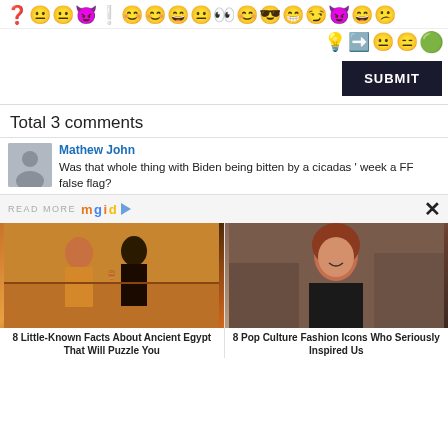[Figure (screenshot): Emoji toolbar with various emoticon icons and a SUBMIT button]
Total 3 comments
Mathew John
Was that whole thing with Biden being bitten by a cicadas week a FF false flag?
READ MORE mgid
[Figure (photo): Ancient Egyptian wall painting showing two figures with traditional Egyptian style art]
8 Little-Known Facts About Ancient Egypt That Will Puzzle You
[Figure (photo): Young woman with auburn hair smiling, wearing a black dress with necklace, appears to be from the movie Titanic]
8 Pop Culture Fashion Icons Who Seriously Inspired Us